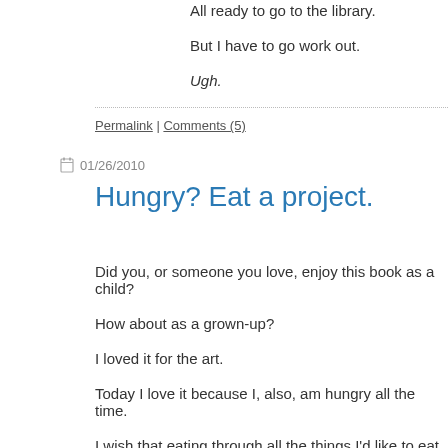All ready to go to the library.
But I have to go work out.
Ugh.
Permalink | Comments (5)
01/26/2010
Hungry? Eat a project.
Did you, or someone you love, enjoy this book as a child?
How about as a grown-up?
I loved it for the art.
Today I love it because I, also, am hungry all the time.
I wish that eating through all the things I'd like to eat through would work as well for the caterpillar.